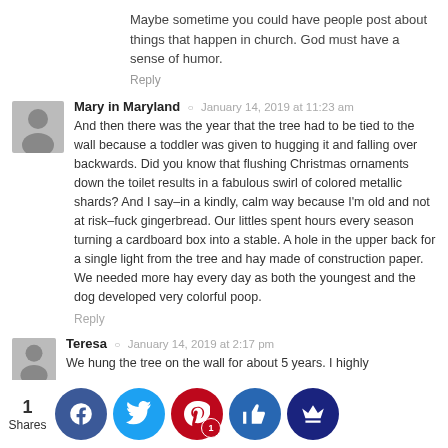Maybe sometime you could have people post about things that happen in church. God must have a sense of humor.
Reply
Mary in Maryland  ○  January 14, 2019 at 11:23 am
And then there was the year that the tree had to be tied to the wall because a toddler was given to hugging it and falling over backwards. Did you know that flushing Christmas ornaments down the toilet results in a fabulous swirl of colored metallic shards? And I say–in a kindly, calm way because I'm old and not at risk–fuck gingerbread. Our littles spent hours every season turning a cardboard box into a stable. A hole in the upper back for a single light from the tree and hay made of construction paper. We needed more hay every day as both the youngest and the dog developed very colorful poop.
Reply
Teresa  ○  January 14, 2019 at 2:17 pm
We hung the tree on the wall for about 5 years. I highly
1
Shares